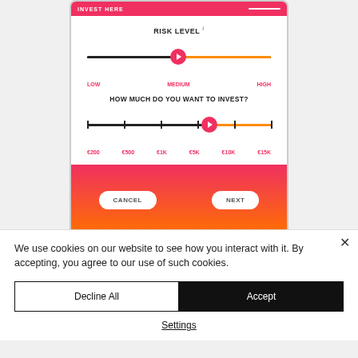[Figure (screenshot): Mobile app screenshot showing a risk level slider set to MEDIUM between LOW and HIGH, and an investment amount slider set near €10K between €200 and €15K, with CANCEL and NEXT buttons on a gradient background]
We use cookies on our website to see how you interact with it. By accepting, you agree to our use of such cookies.
Decline All
Accept
Settings